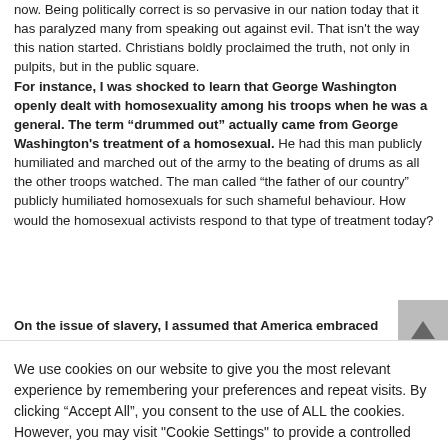now. Being politically correct is so pervasive in our nation today that it has paralyzed many from speaking out against evil. That isn't the way this nation started. Christians boldly proclaimed the truth, not only in pulpits, but in the public square. For instance, I was shocked to learn that George Washington openly dealt with homosexuality among his troops when he was a general. The term “drummed out” actually came from George Washington's treatment of a homosexual. He had this man publicly humiliated and marched out of the army to the beating of drums as all the other troops watched. The man called “the father of our country” publicly humiliated homosexuals for such shameful behaviour. How would the homosexual activists respond to that type of treatment today?
On the issue of slavery, I assumed that America embraced
We use cookies on our website to give you the most relevant experience by remembering your preferences and repeat visits. By clicking “Accept All”, you consent to the use of ALL the cookies. However, you may visit "Cookie Settings" to provide a controlled consent.